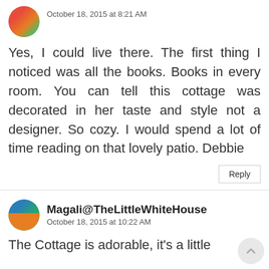[Figure (photo): Circular avatar image with colorful pattern (partial, top of page)]
October 18, 2015 at 8:21 AM
Yes, I could live there. The first thing I noticed was all the books. Books in every room. You can tell this cottage was decorated in her taste and style not a designer. So cozy. I would spend a lot of time reading on that lovely patio. Debbie
Reply
[Figure (photo): Circular avatar image for Magali@TheLittleWhiteHouse]
Magali@TheLittleWhiteHouse
October 18, 2015 at 10:22 AM
The Cottage is adorable, it's a little